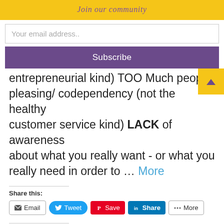Join our community
Your email address..
Subscribe
entrepreneurial kind) TOO Much people pleasing/ codependency (not the healthy customer service kind) LACK of awareness about what you really want - or what you really need in order to … More
Share this:
Email  Tweet  Save  Share  More
Like this: